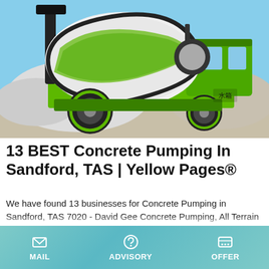[Figure (photo): Green self-loading concrete mixer truck parked outdoors on gravel/dirt with blue sky background. The truck is green with large black tires and a white rotating drum with green stripes. Chinese character 水箱 visible on the side.]
13 BEST Concrete Pumping In Sandford, TAS | Yellow Pages®
We have found 13 businesses for Concrete Pumping in Sandford, TAS 7020 - David Gee Concrete Pumping, All Terrain Concrete Pumping Service, David Gee Pty Ltd, G & D Cooper Concrete Pumping Services, Noble Concrete & Excavations Pty Ltd - and more. Yellow Pages Yellow Pages. Bang Bay TAS 7015, 0448 888 888. Sandton Sandton mobile...
MAIL   ADVISORY   OFFER